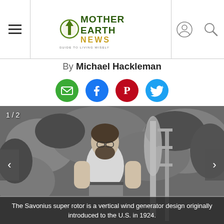Mother Earth News — THE ORIGINAL GUIDE TO LIVING WISELY
By Michael Hackleman
[Figure (other): Social sharing icons: email (green), Facebook (blue), Pinterest (red), Twitter (blue)]
[Figure (photo): Black and white photo of a man with glasses and a beard wearing a white t-shirt standing next to a vertical Savonius rotor wind generator structure. Image counter shows 1/2.]
The Savonius super rotor is a vertical wind generator design originally introduced to the U.S. in 1924.